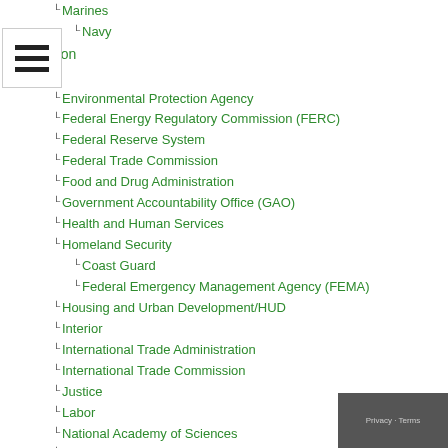Marines
Navy
Education
Energy
Environmental Protection Agency
Federal Energy Regulatory Commission (FERC)
Federal Reserve System
Federal Trade Commission
Food and Drug Administration
Government Accountability Office (GAO)
Health and Human Services
Homeland Security
Coast Guard
Federal Emergency Management Agency (FEMA)
Housing and Urban Development/HUD
Interior
International Trade Administration
International Trade Commission
Justice
Labor
National Academy of Sciences
National Aeronautics and Space Administration
National Oceanic and Atmospheric Administration
National Research Council